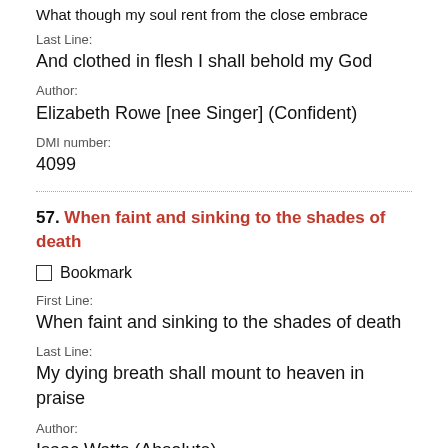What though my soul rent from the close embrace
Last Line:
And clothed in flesh I shall behold my God
Author:
Elizabeth Rowe [nee Singer] (Confident)
DMI number:
4099
57. When faint and sinking to the shades of death
Bookmark
First Line:
When faint and sinking to the shades of death
Last Line:
My dying breath shall mount to heaven in praise
Author:
Isaac Watts (Absolute)